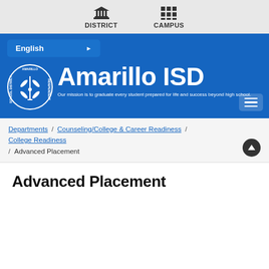DISTRICT   CAMPUS
[Figure (screenshot): Amarillo ISD website header with blue background, school logo, language selector (English), and hamburger menu]
Departments / Counseling/College & Career Readiness / College Readiness / Advanced Placement
Advanced Placement